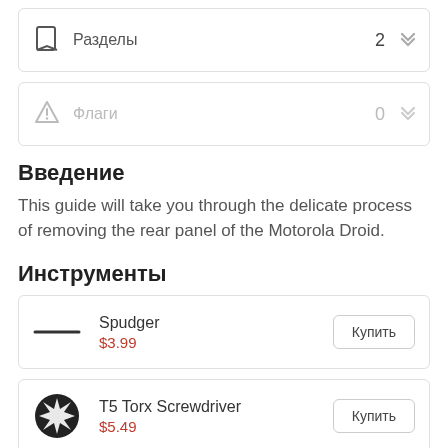Разделы  2
Флаги  0
Введение
This guide will take you through the delicate process of removing the rear panel of the Motorola Droid.
Инструменты
Spudger $3.99  Купить
T5 Torx Screwdriver $5.49  Купить